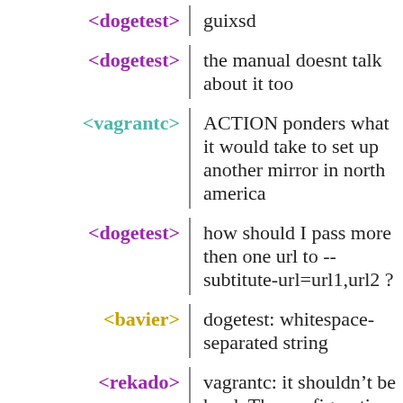<dogetest> guixsd
<dogetest> the manual doesnt talk about it too
<vagrantc> ⁣ACTION ponders what it would take to set up another mirror in north america⁣
<dogetest> how should I pass more then one url to --subtitute-url=url1,url2 ?
<bavier> dogetest: whitespace-separated string
<rekado> vagrantc: it shouldn’t be hard. The configuration file used for